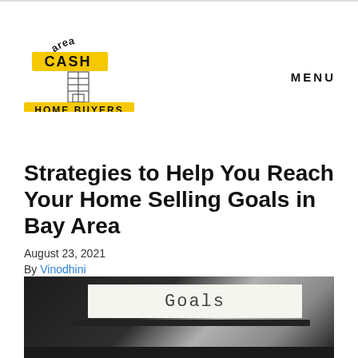[Figure (logo): Bay Area Cash Home Buyers logo with arched text 'bay area', bold yellow 'CASH' text, a building/tower illustration, and yellow banner reading 'HOME BUYERS']
MENU
Strategies to Help You Reach Your Home Selling Goals in Bay Area
August 23, 2021
By Vinodhini
[Figure (photo): A typewriter with a sheet of paper inserted showing the typed word 'Goals' in courier font, dark typewriter body visible]